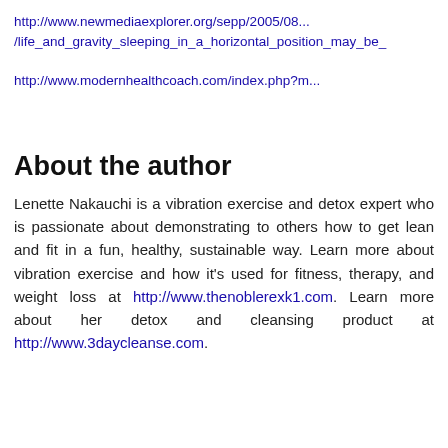http://www.newmediaexplorer.org/sepp/2005/08...
/life_and_gravity_sleeping_in_a_horizontal_position_may_be_
http://www.modernhealthcoach.com/index.php?m...
About the author
Lenette Nakauchi is a vibration exercise and detox expert who is passionate about demonstrating to others how to get lean and fit in a fun, healthy, sustainable way. Learn more about vibration exercise and how it's used for fitness, therapy, and weight loss at http://www.thenoblerexk1.com. Learn more about her detox and cleansing product at http://www.3daycleanse.com.